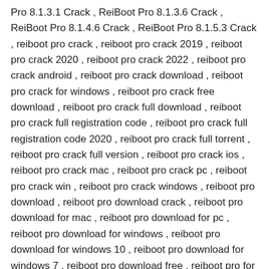Pro 8.1.3.1 Crack , ReiBoot Pro 8.1.3.6 Crack , ReiBoot Pro 8.1.4.6 Crack , ReiBoot Pro 8.1.5.3 Crack , reiboot pro crack , reiboot pro crack 2019 , reiboot pro crack 2020 , reiboot pro crack 2022 , reiboot pro crack android , reiboot pro crack download , reiboot pro crack for windows , reiboot pro crack free download , reiboot pro crack full download , reiboot pro crack full registration code , reiboot pro crack full registration code 2020 , reiboot pro crack full torrent , reiboot pro crack full version , reiboot pro crack ios , reiboot pro crack mac , reiboot pro crack pc , reiboot pro crack win , reiboot pro crack windows , reiboot pro download , reiboot pro download crack , reiboot pro download for mac , reiboot pro download for pc , reiboot pro download for windows , reiboot pro download for windows 10 , reiboot pro download for windows 7 , reiboot pro download free , reiboot pro for ios , reiboot pro for iphone , reiboot pro for mac , reiboot pro for windows , reiboot pro for windows 10 bit 64 , reiboot pro for windows 7 , reiboot pro for windows 8.1 , reiboot pro free , reiboot pro free alternative , reiboot pro free download for pc , reiboot